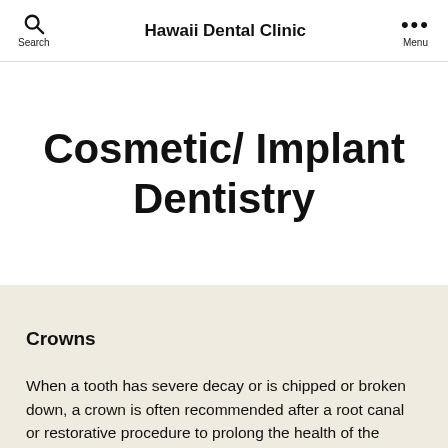Search   Hawaii Dental Clinic   Menu
Cosmetic/ Implant Dentistry
Crowns
When a tooth has severe decay or is chipped or broken down, a crown is often recommended after a root canal or restorative procedure to prolong the health of the tooth. Crowns are synthetic caps used to restore the form and appearance of the tooth. Crowns are